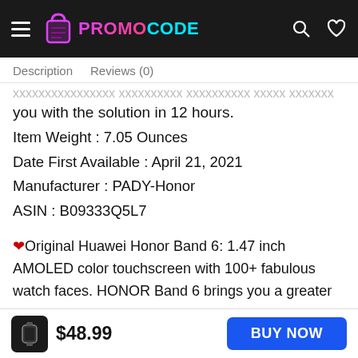PROMOCODE
Description   Reviews (0)
you with the solution in 12 hours.
Item Weight  :  7.05 Ounces
Date First Available  :  April 21, 2021
Manufacturer  :  PADY-Honor
ASIN  :  B09333Q5L7
❤Original Huawei Honor Band 6: 1.47 inch AMOLED color touchscreen with 100+ fabulous watch faces. HONOR Band 6 brings you a greater vision. Adopted 2.5D arc glass design, HONOR Band 6 has a uni-body
$48.99  BUY NOW